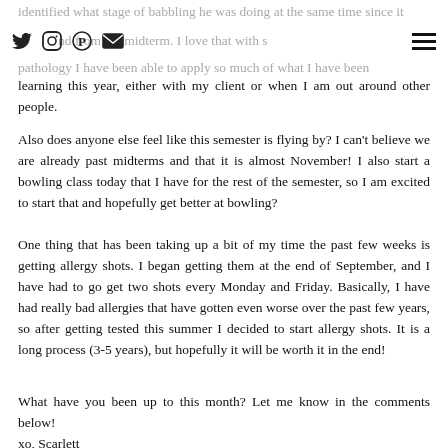identified what stage of babbling he was doing at the same time since it
[nav bar with social icons and hamburger menu]
s [icon] [icon] [icon] [icon] nd from the midterm. I love that with s[icon] pathology I have been able to apply so much of what I have been learning this year, either with my client or when I am out around other people.
Also does anyone else feel like this semester is flying by? I can't believe we are already past midterms and that it is almost November! I also start a bowling class today that I have for the rest of the semester, so I am excited to start that and hopefully get better at bowling?
One thing that has been taking up a bit of my time the past few weeks is getting allergy shots. I began getting them at the end of September, and I have had to go get two shots every Monday and Friday. Basically, I have had really bad allergies that have gotten even worse over the past few years, so after getting tested this summer I decided to start allergy shots. It is a long process (3-5 years), but hopefully it will be worth it in the end!
What have you been up to this month? Let me know in the comments below!
xo, Scarlett